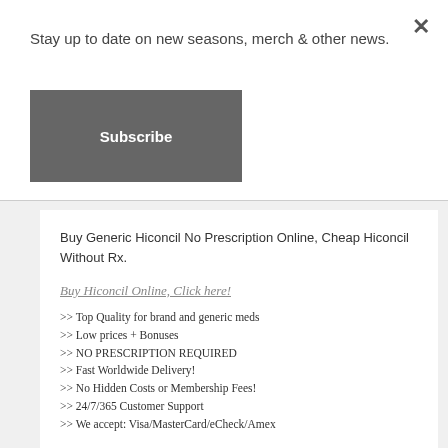Stay up to date on new seasons, merch & other news.
Subscribe
×
Buy Generic Hiconcil No Prescription Online, Cheap Hiconcil Without Rx.
Buy Hiconcil Online, Click here!
>> Top Quality for brand and generic meds
>> Low prices + Bonuses
>> NO PRESCRIPTION REQUIRED
>> Fast Worldwide Delivery!
>> No Hidden Costs or Membership Fees!
>> 24/7/365 Customer Support
>> We accept: Visa/MasterCard/eCheck/Amex